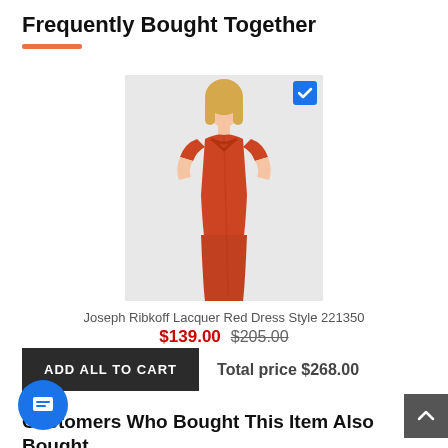Frequently Bought Together
[Figure (photo): Photo of a woman wearing a Joseph Ribkoff Lacquer Red fitted midi dress with short sleeves and cross-front neckline detail. A blue checkbox/checkmark badge is shown in the top-right corner of the image.]
Joseph Ribkoff Lacquer Red Dress Style 221350
$139.00 $205.00
ADD ALL TO CART   Total price $268.00
Customers Who Bought This Item Also Bought